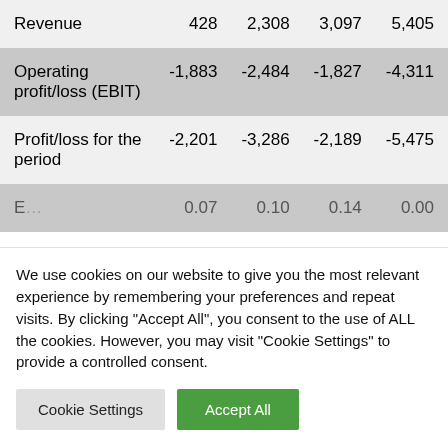| Revenue | 428 | 2,308 | 3,097 | 5,405 |
| Operating profit/loss (EBIT) | -1,883 | -2,484 | -1,827 | -4,311 |
| Profit/loss for the period | -2,201 | -3,286 | -2,189 | -5,475 |
| [partial row] | 0.07 | 0.10 | 0.14 | 0.00 |
We use cookies on our website to give you the most relevant experience by remembering your preferences and repeat visits. By clicking "Accept All", you consent to the use of ALL the cookies. However, you may visit "Cookie Settings" to provide a controlled consent.